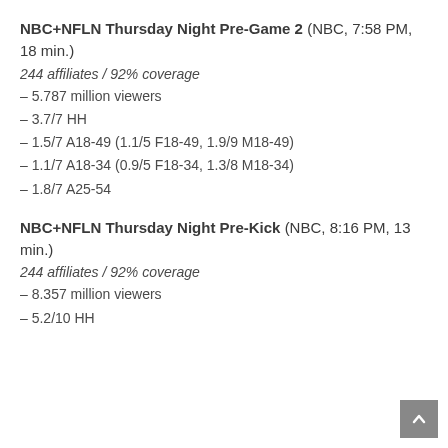NBC+NFLN Thursday Night Pre-Game 2 (NBC, 7:58 PM, 18 min.)
244 affiliates / 92% coverage
– 5.787 million viewers
– 3.7/7 HH
– 1.5/7 A18-49 (1.1/5 F18-49, 1.9/9 M18-49)
– 1.1/7 A18-34 (0.9/5 F18-34, 1.3/8 M18-34)
– 1.8/7 A25-54
NBC+NFLN Thursday Night Pre-Kick (NBC, 8:16 PM, 13 min.)
244 affiliates / 92% coverage
– 8.357 million viewers
– 5.2/10 HH